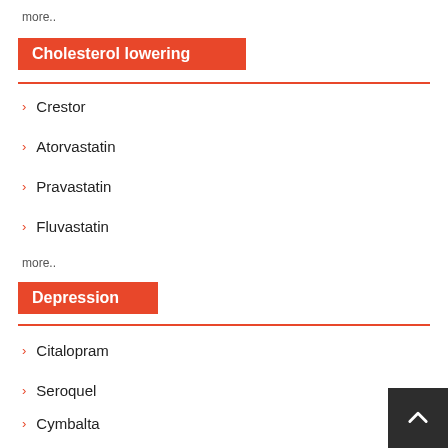more..
Cholesterol lowering
Crestor
Atorvastatin
Pravastatin
Fluvastatin
more..
Depression
Citalopram
Seroquel
Cymbalta
Abilify